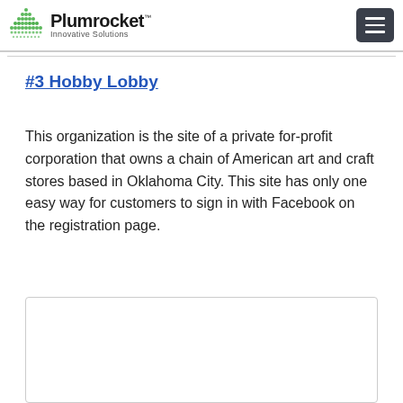Plumrocket Innovative Solutions
#3 Hobby Lobby
This organization is the site of a private for-profit corporation that owns a chain of American art and craft stores based in Oklahoma City. This site has only one easy way for customers to sign in with Facebook on the registration page.
[Figure (screenshot): A bordered content box with social sharing icons: Facebook, Twitter, LinkedIn, Email, and Plus/More.]